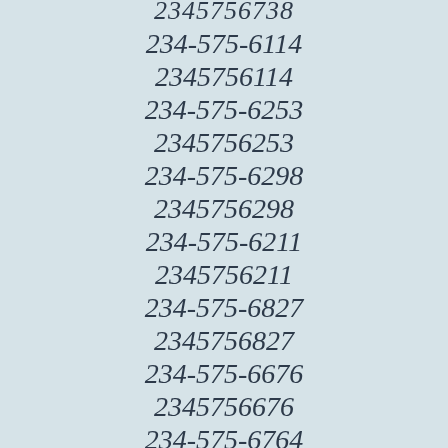2345756738
234-575-6114
2345756114
234-575-6253
2345756253
234-575-6298
2345756298
234-575-6211
2345756211
234-575-6827
2345756827
234-575-6676
2345756676
234-575-6764
2345756764
234-575-6700